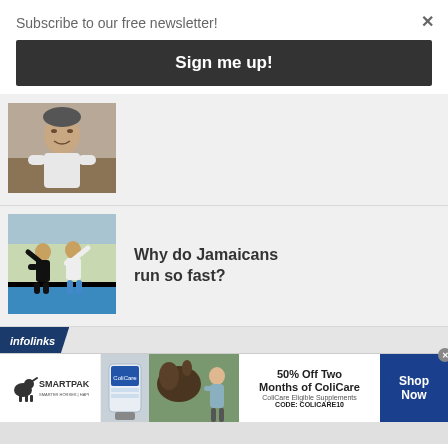Subscribe to our free newsletter!
Sign me up!
[Figure (photo): Older man in white polo shirt seated indoors]
[Figure (photo): People stretching/training on a running track]
Why do Jamaicans run so fast?
infolinks
[Figure (infographic): SmartPak advertisement: 50% Off Two Months of ColiCare, ColiCare Eligible Supplements, CODE: COLICARE10, Shop Now button]